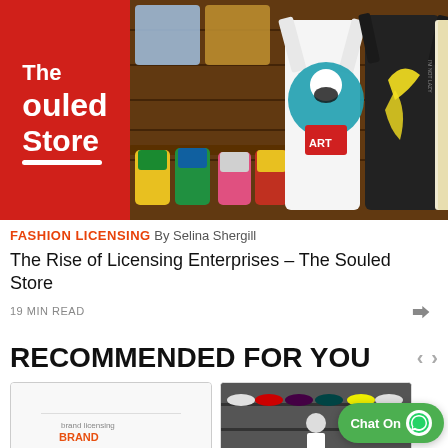[Figure (photo): Hero banner showing The Souled Store logo on red background on left, and store products including printed t-shirts and colorful socks on wooden shelving on the right]
FASHION LICENSING By Selina Shergill
The Rise of Licensing Enterprises - The Souled Store
19 MIN READ
RECOMMENDED FOR YOU
[Figure (screenshot): Thumbnail image showing a brand/licensing related graphic with the word BRAND visible]
[Figure (photo): Thumbnail image showing a person standing in front of shoe racks in a store]